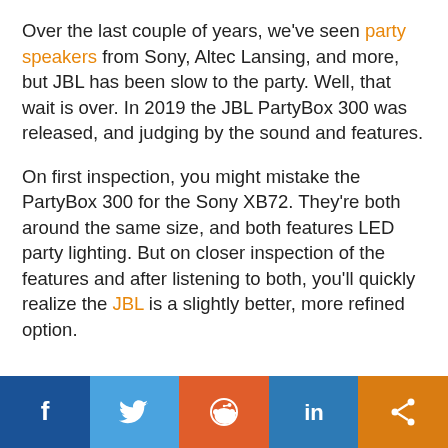Over the last couple of years, we've seen party speakers from Sony, Altec Lansing, and more, but JBL has been slow to the party. Well, that wait is over. In 2019 the JBL PartyBox 300 was released, and judging by the sound and features.
On first inspection, you might mistake the PartyBox 300 for the Sony XB72. They're both around the same size, and both features LED party lighting. But on closer inspection of the features and after listening to both, you'll quickly realize the JBL is a slightly better, more refined option.
[Figure (infographic): Social sharing bar with Facebook, Twitter, Reddit, LinkedIn, and Share icons]